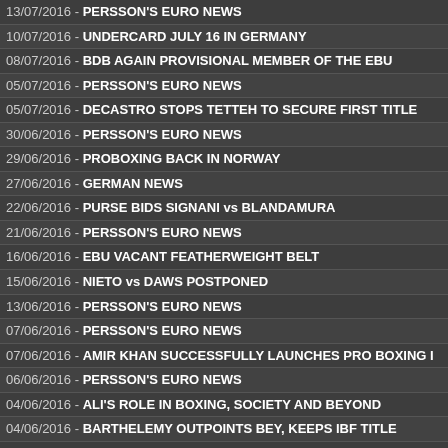13/07/2016 - PERSSON'S EURO NEWS
10/07/2016 - UNDERCARD JULY 16 IN GERMANY
08/07/2016 - BDB AGAIN PROVISIONAL MEMBER OF THE EBU
05/07/2016 - PERSSON'S EURO NEWS
05/07/2016 - DECASTRO STOPS TETTEH TO SECURE FIRST TITLE
30/06/2016 - PERSSON'S EURO NEWS
29/06/2016 - PROBOXING BACK IN NORWAY
27/06/2016 - GERMAN NEWS
22/06/2016 - PURSE BIDS SIGNANI vs BLANDAMURA
21/06/2016 - PERSSON'S EURO NEWS
16/06/2016 - EBU VACANT FEATHERWEIGHT BELT
15/06/2016 - NIETO vs DAWS POSTPONED
13/06/2016 - PERSSON'S EURO NEWS
07/06/2016 - PERSSON'S EURO NEWS
07/06/2016 - AMIR KHAN SUCCESSFULLY LAUNCHES PRO BOXING I
06/06/2016 - PERSSON'S EURO NEWS
04/06/2016 - ALI'S ROLE IN BOXING, SOCIETY AND BEYOND
04/06/2016 - BARTHELEMY OUTPOINTS BEY, KEEPS IBF TITLE
04/06/2016 - MUHAMMAD ALI, THE GREATEST OF ALL TIME, DIED AT
02/06/2016 - PERSSON'S EURO NEWS
31/05/2016 - ARSLAN RETURNS IN KASSEL, GERMANY
26/05/2016 - PERSSON'S EURO NEWS
24/05/2016 - PERSSON'S EURO NEWS
23/05/2016 - ARSLAN BACK JUNE 4
19/05/2016 - PERSSON'S EURO NEWS
18/05/2016 - DANISH FIGHT NIGHT JUNE 4
14/05/2016 - PERSSON'S EURO NEWS